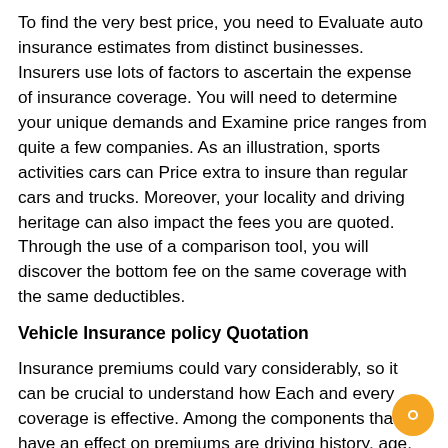To find the very best price, you need to Evaluate auto insurance estimates from distinct businesses. Insurers use lots of factors to ascertain the expense of insurance coverage. You will need to determine your unique demands and Examine price ranges from quite a few companies. As an illustration, sports activities cars can Price extra to insure than regular cars and trucks. Moreover, your locality and driving heritage can also impact the fees you are quoted. Through the use of a comparison tool, you will discover the bottom fee on the same coverage with the same deductibles.
Vehicle Insurance policy Quotation
Insurance premiums could vary considerably, so it can be crucial to understand how Each and every coverage is effective. Among the components that have an effect on premiums are driving history, age, and credit history record. You may also compare the perks that each corporation offers, such as roadside help or accident forgiveness. While this could seem like a daunting process, it may also help to